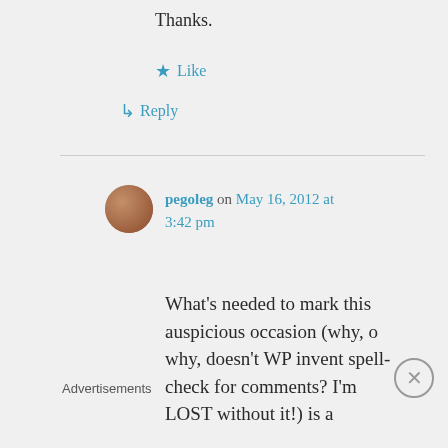Thanks.
★ Like
↳ Reply
pegoleg on May 16, 2012 at 3:42 pm
What's needed to mark this auspicious occasion (why, o why, doesn't WP invent spell-check for comments? I'm LOST without it!) is a
Advertisements